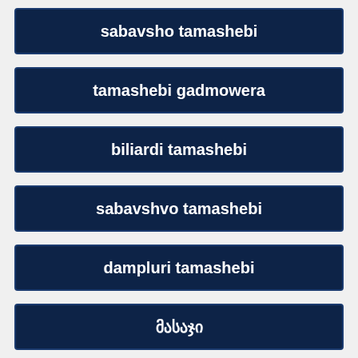sabavsho tamashebi
tamashebi gadmowera
biliardi tamashebi
sabavshvo tamashebi
dampluri tamashebi
მასაჯი